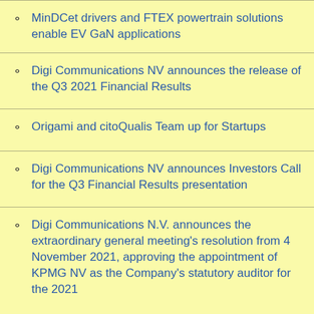MinDCet drivers and FTEX powertrain solutions enable EV GaN applications
Digi Communications NV announces the release of the Q3 2021 Financial Results
Origami and citoQualis Team up for Startups
Digi Communications NV announces Investors Call for the Q3 Financial Results presentation
Digi Communications N.V. announces the extraordinary general meeting's resolution from 4 November 2021, approving the appointment of KPMG NV as the Company's statutory auditor for the 2021